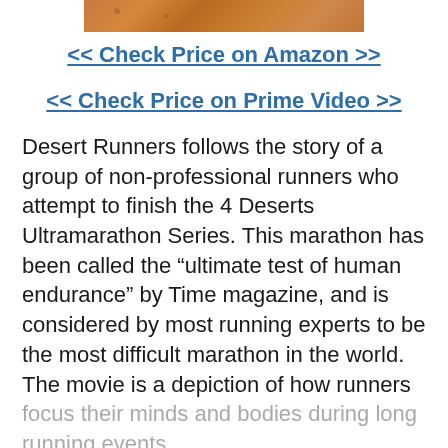[Figure (photo): Partial view of a sandy desert surface texture, orange-brown color]
<< Check Price on Amazon >>
<< Check Price on Prime Video >>
Desert Runners follows the story of a group of non-professional runners who attempt to finish the 4 Deserts Ultramarathon Series. This marathon has been called the “ultimate test of human endurance” by Time magazine, and is considered by most running experts to be the most difficult marathon in the world. The movie is a depiction of how runners focus their minds and bodies during long running events.